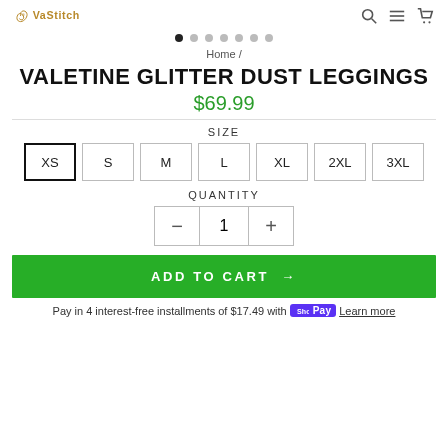Vastitch logo with search, menu, cart icons
[Figure (other): Carousel dot navigation: 7 dots, first one filled/active]
Home /
VALETINE GLITTER DUST LEGGINGS
$69.99
SIZE
XS  S  M  L  XL  2XL  3XL
QUANTITY
− 1 +
ADD TO CART →
Pay in 4 interest-free installments of $17.49 with Shop Pay  Learn more